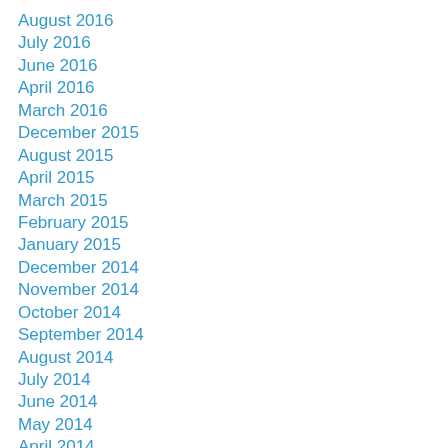August 2016
July 2016
June 2016
April 2016
March 2016
December 2015
August 2015
April 2015
March 2015
February 2015
January 2015
December 2014
November 2014
October 2014
September 2014
August 2014
July 2014
June 2014
May 2014
April 2014